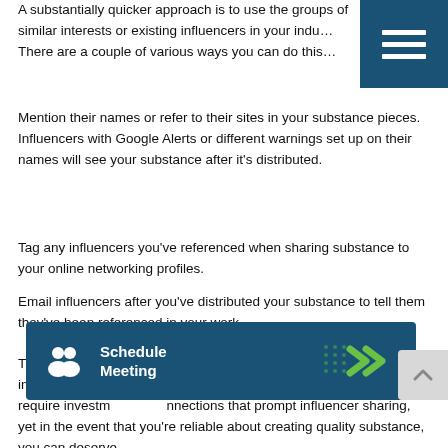A substantially quicker approach is to use the groups of similar interests or existing influencers in your indu… There are a couple of various ways you can do this…
[Figure (other): Dark blue hamburger menu button in top-right corner with three white horizontal lines]
Mention their names or refer to their sites in your substance pieces. Influencers with Google Alerts or different warnings set up on their names will see your substance after it's distributed.
Tag any influencers you've referenced when sharing substance to your online networking profiles.
Email influencers after you've distributed your substance to tell them they've been referenced in your work.
The objective of all these distinctive activities is to inspire them to impart … supporters by means of long … cation. It can require investm… nnections that prompt influencer sharing, yet in the event that you're reliable about creating quality substance, you can deserve…
[Figure (infographic): Dark blue Schedule Meeting banner with white people icon on left, bold white text 'Schedule Meeting' in center, and green chevron arrows on right]